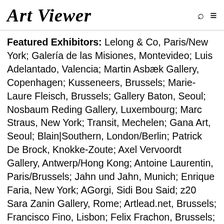Art Viewer
Featured Exhibitors: Lelong & Co, Paris/New York; Galería de las Misiones, Montevideo; Luis Adelantado, Valencia; Martin Asbæk Gallery, Copenhagen; Kusseneers, Brussels; Marie-Laure Fleisch, Brussels; Gallery Baton, Seoul; Nosbaum Reding Gallery, Luxembourg; Marc Straus, New York; Transit, Mechelen; Gana Art, Seoul; Blain|Southern, London/Berlin; Patrick De Brock, Knokke-Zoute; Axel Vervoordt Gallery, Antwerp/Hong Kong; Antoine Laurentin, Paris/Brussels; Jahn und Jahn, Munich; Enrique Faria, New York; AGorgi, Sidi Bou Said; z20 Sara Zanin Gallery, Rome; Artlead.net, Brussels; Francisco Fino, Lisbon; Felix Frachon, Brussels; Tiwani Contemporary, London; Galerie Conradi, Hamburg/Brussels; tegenboschvanvreden, Amsterdam; The Hole, New York; Galerie Escougnou-Cetraro, Paris; Dürst Britt & Mayhew, The Hague; LEVY DELVAL